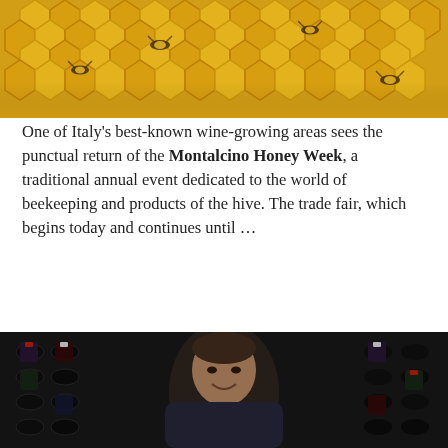[Figure (photo): Close-up photo of honeybees on honeycomb]
One of Italy's best-known wine-growing areas sees the punctual return of the Montalcino Honey Week, a traditional annual event dedicated to the world of beekeeping and products of the hive. The trade fair, which begins today and continues until …
FRIDAY AUGUST 9TH, 2019
SIP TRIP, JEFF PORTER'S JOURNEY THROUGH THE WINES OF ITALY
[Figure (photo): Photo of a man (Jeff Porter) smiling in front of wine bottle racks]